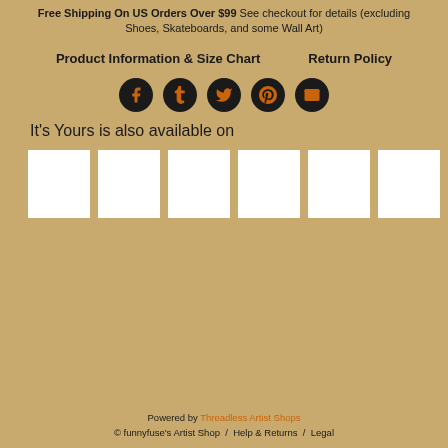Free Shipping On US Orders Over $99 See checkout for details (excluding Shoes, Skateboards, and some Wall Art)
Product Information & Size Chart    Return Policy
[Figure (infographic): Five circular social media share icons (Facebook, Tumblr, Twitter, Pinterest, Email) with dark backgrounds and orange icon symbols]
It's Yours is also available on
[Figure (infographic): Six white square product thumbnail placeholders arranged in a row]
Powered by Threadless Artist Shops © funnyfuse's Artist Shop / Help & Returns / Legal